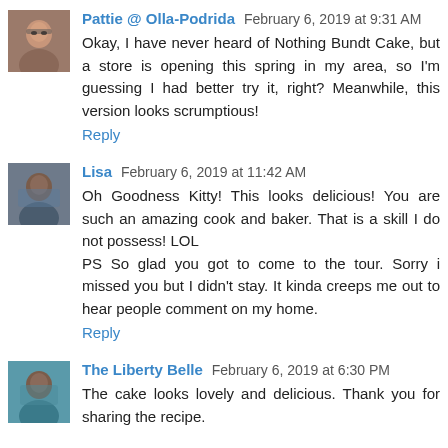[Figure (photo): Avatar photo of Pattie, a person wearing glasses]
Pattie @ Olla-Podrida February 6, 2019 at 9:31 AM
Okay, I have never heard of Nothing Bundt Cake, but a store is opening this spring in my area, so I'm guessing I had better try it, right? Meanwhile, this version looks scrumptious!
Reply
[Figure (photo): Avatar photo of Lisa]
Lisa February 6, 2019 at 11:42 AM
Oh Goodness Kitty! This looks delicious! You are such an amazing cook and baker. That is a skill I do not possess! LOL
PS So glad you got to come to the tour. Sorry i missed you but I didn't stay. It kinda creeps me out to hear people comment on my home.
Reply
[Figure (photo): Avatar photo of The Liberty Belle]
The Liberty Belle February 6, 2019 at 6:30 PM
The cake looks lovely and delicious. Thank you for sharing the recipe.